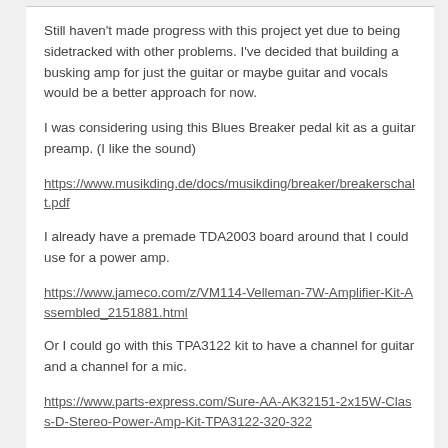Still haven't made progress with this project yet due to being sidetracked with other problems. I've decided that building a busking amp for just the guitar or maybe guitar and vocals would be a better approach for now.
I was considering using this Blues Breaker pedal kit as a guitar preamp. (I like the sound)
https://www.musikding.de/docs/musikding/breaker/breakerschalt.pdf
I already have a premade TDA2003 board around that I could use for a power amp.
https://www.jameco.com/z/VM114-Velleman-7W-Amplifier-Kit-Assembled_2151881.html
Or I could go with this TPA3122 kit to have a channel for guitar and a channel for a mic.
https://www.parts-express.com/Sure-AA-AK32151-2x15W-Class-D-Stereo-Power-Amp-Kit-TPA3122-320-322